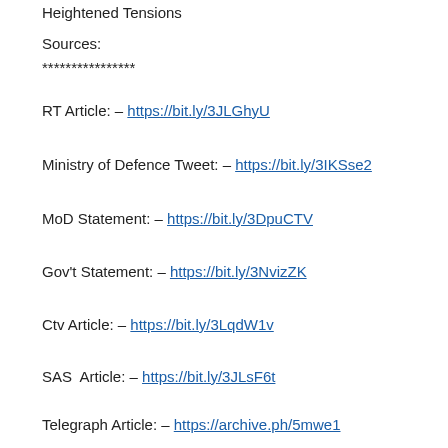Heightened Tensions
Sources:
****************
RT Article: – https://bit.ly/3JLGhyU
Ministry of Defence Tweet: – https://bit.ly/3IKSse2
MoD Statement: – https://bit.ly/3DpuCTV
Gov't Statement: – https://bit.ly/3NvizZK
Ctv Article: – https://bit.ly/3LqdW1v
SAS  Article: – https://bit.ly/3JLsF6t
Telegraph Article: – https://archive.ph/5mwe1
31:49 – Mick Wallace Statement About Yemen